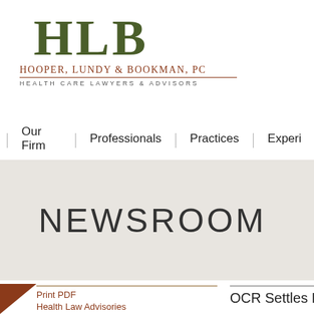[Figure (logo): Hooper, Lundy & Bookman, PC logo with large serif HLB letters in dark olive green, firm name in reddish-brown, tagline 'Health Care Lawyers & Advisors' below]
Our Firm | Professionals | Practices | Experi
NEWSROOM
Print PDF
Health Law Advisories
OCR Settles Firs